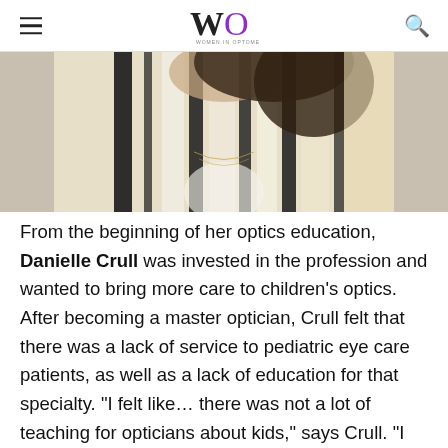Women in Optometry
[Figure (photo): Partial photo of Danielle Crull wearing a black and white striped top, cropped at the top of the page]
From the beginning of her optics education, Danielle Crull was invested in the profession and wanted to bring more care to children's optics. After becoming a master optician, Crull felt that there was a lack of service to pediatric eye care patients, as well as a lack of education for that specialty. "I felt like… there was not a lot of teaching for opticians about kids," says Crull. "I try to share things and help people fit kids." In an